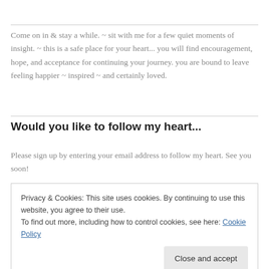Come on in & stay a while. ~ sit with me for a few quiet moments of insight. ~ this is a safe place for your heart... you will find encouragement, hope, and acceptance for continuing your journey. you are bound to leave feeling happier ~ inspired ~ and certainly loved.
Would you like to follow my heart...
Please sign up by entering your email address to follow my heart. See you soon!
Privacy & Cookies: This site uses cookies. By continuing to use this website, you agree to their use.
To find out more, including how to control cookies, see here: Cookie Policy